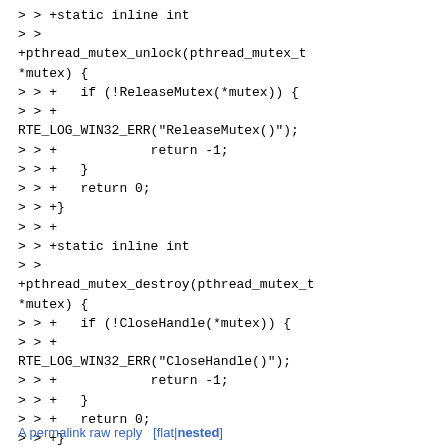> > +static inline int
> >
+pthread_mutex_unlock(pthread_mutex_t *mutex) {
> > +   if (!ReleaseMutex(*mutex)) {
> > +
RTE_LOG_WIN32_ERR("ReleaseMutex()");
> > +            return -1;
> > +   }
> > +   return 0;
> > +}
> > +
> > +static inline int
> >
+pthread_mutex_destroy(pthread_mutex_t *mutex) {
> > +   if (!CloseHandle(*mutex)) {
> > +
RTE_LOG_WIN32_ERR("CloseHandle()");
> > +            return -1;
> > +   }
> > +   return 0;
> > +}
> > +
> >  #ifdef __cplusplus
> >  }
> >  #endif
A permalink raw reply   [flat|nested]